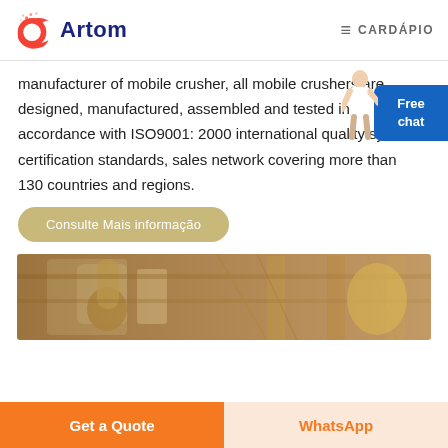Artom | CARDÁPIO
manufacturer of mobile crusher, all mobile crushers are designed, manufactured, assembled and tested in accordance with ISO9001: 2000 international quality system certification standards, sales network covering more than 130 countries and regions.
Consulte Mais informação
[Figure (photo): Industrial factory interior showing large machinery and scaffolding in warm golden tones]
Get a Quote
WhatsApp